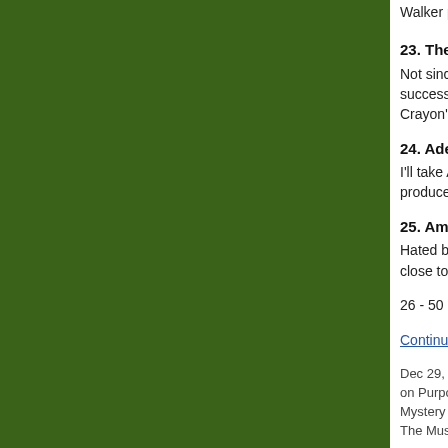Walker period, but...
23. The Wild Beas...
Not since the days... successful at it. I m... Crayon" is a bullse...
24. Adele - Cold S...
I'll take Adele over... produced, natch.
25. Amazing Baby...
Hated by Brooklyn... close to a good de...
26 - 50 after the ju...
Continue reading "...
Dec 29, 2008 12:46:... on Purpose, Esser, P... Mystery Jets, noah a... The Muslims, The Pa...